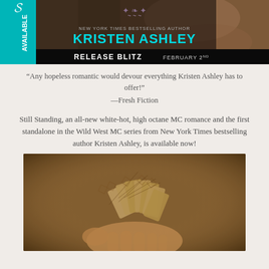[Figure (photo): Book cover image for Kristen Ashley's 'Still Standing' with a teal 'Available' banner on the left, the author's name 'KRISTEN ASHLEY' in teal/cyan lettering, a winged emblem, and a black banner reading 'RELEASE BLITZ FEBRUARY 2ND'. Close-up of a man's hands in sepia tone in the background.]
“Any hopeless romantic would devour everything Kristen Ashley has to offer!”
—Fresh Fiction
Still Standing, an all-new white-hot, high octane MC romance and the first standalone in the Wild West MC series from New York Times bestselling author Kristen Ashley, is available now!
[Figure (photo): Sepia-toned close-up photo of a person's hands holding a fan of playing cards facing down, showing the decorative card backs with a diamond/crosshatch pattern.]